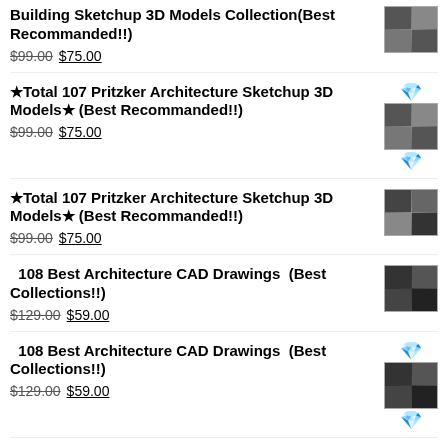Building Sketchup 3D Models Collection(Best Recommanded!!) $99.00 $75.00
★Total 107 Pritzker Architecture Sketchup 3D Models★ (Best Recommanded!!) $99.00 $75.00
★Total 107 Pritzker Architecture Sketchup 3D Models★ (Best Recommanded!!) $99.00 $75.00
108 Best Architecture CAD Drawings (Best Collections!!) $129.00 $59.00
108 Best Architecture CAD Drawings (Best Collections!!) $129.00 $59.00
🔷All 40 Architecture CAD Details Collections (Total 40 Best Collections) $129.00 $59.00
🔷All 40 Architecture CAD Details Collections $129.00 $59.00